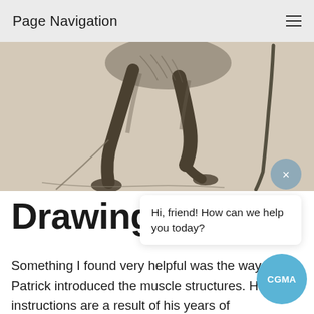Page Navigation
[Figure (illustration): Pencil sketch of a person's lower body/legs and feet in motion, with a walking stick or cane on the right side. Drawn on light beige paper in graphite.]
Drawing
Hi, friend! How can we help you today?
Something I found very helpful was the way Patrick introduced the muscle structures. His instru[ctions are] a result of his years of experience studying anatomy. He's not just regurgitating the words of an